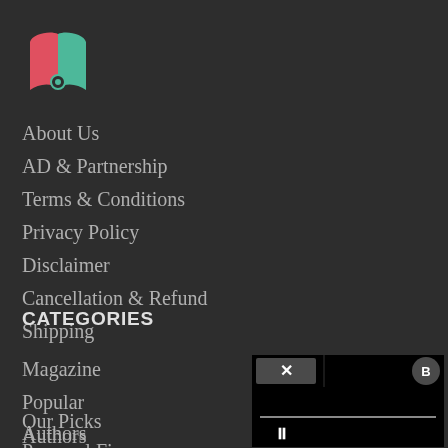[Figure (logo): Book/pen icon logo with pink-red and teal/green colors on dark background]
About Us
AD & Partnership
Terms & Conditions
Privacy Policy
Disclaimer
Cancellation & Refund
Shipping
CATEGORIES
Magazine
Popular
Our Picks
Authors
Personal Finance
[Figure (screenshot): Black media player overlay with close (X) button and cast icon on top bar, a gray progress bar, and a pause (II) button]